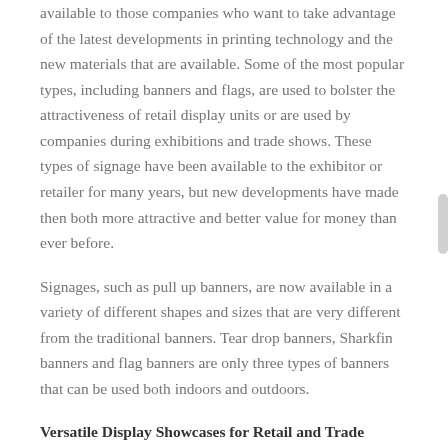available to those companies who want to take advantage of the latest developments in printing technology and the new materials that are available. Some of the most popular types, including banners and flags, are used to bolster the attractiveness of retail display units or are used by companies during exhibitions and trade shows. These types of signage have been available to the exhibitor or retailer for many years, but new developments have made then both more attractive and better value for money than ever before.
Signages, such as pull up banners, are now available in a variety of different shapes and sizes that are very different from the traditional banners. Tear drop banners, Sharkfin banners and flag banners are only three types of banners that can be used both indoors and outdoors.
Versatile Display Showcases for Retail and Trade